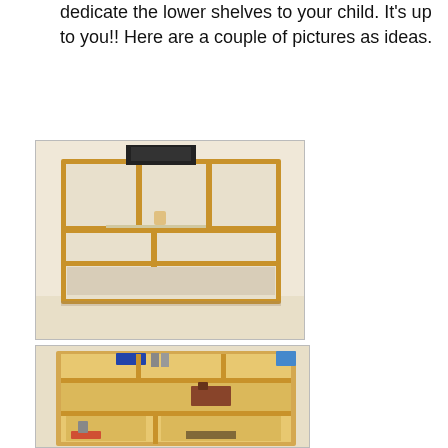dedicate the lower shelves to your child. It's up to you!! Here are a couple of pictures as ideas.
[Figure (photo): Photo of a wooden shelving unit with open cubby shelves, TV on top, items on middle shelf, against a light-colored wall and floor.]
[Figure (photo): Photo of a wooden storage unit with three rows of compartments containing small items and objects on the shelves.]